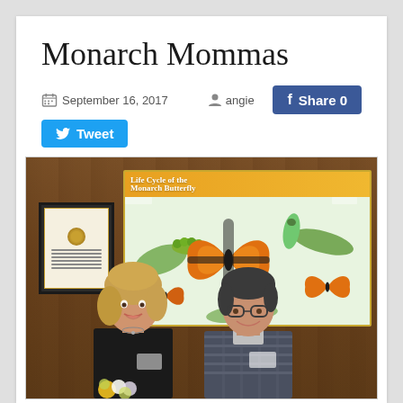Monarch Mommas
September 16, 2017   angie
[Figure (photo): Two women standing in front of a monarch butterfly lifecycle educational poster mounted on a wood-paneled wall. A framed certificate is visible on the left. One woman holds flowers.]
Share 0   Tweet